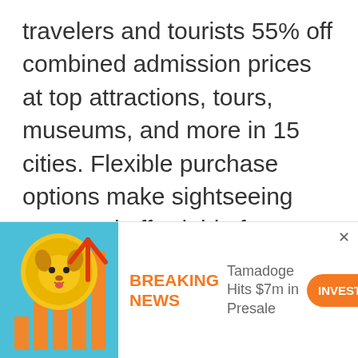travelers and tourists 55% off combined admission prices at top attractions, tours, museums, and more in 15 cities. Flexible purchase options make sightseeing easy and affordable for every type of traveler and tourist,
TicketNetwork-www.ticketnetwork.com, which is an online ticket exchange where sellers list tickets to sports, theater, and concert events around the world, and
[Figure (illustration): Advertisement banner: Cartoon dog coin with upward arrow and bar chart on teal background. Text reads BREAKING NEWS Tamadoge Hits $7m in Presale with orange INVEST NOW button.]